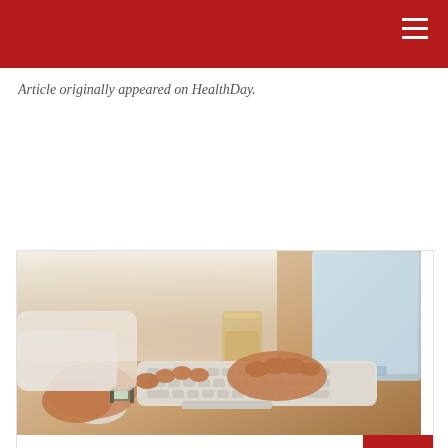Article originally appeared on HealthDay.
[Figure (photo): Close-up photo of a person's hands typing on a white Apple keyboard and using a mouse on a wooden desk, with a glass and computer monitor visible in the background.]
Hearing Survey
Take our hearing health survey and start your journey to better hearing!